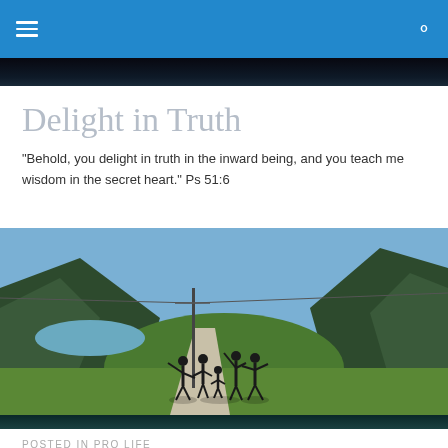Navigation bar with hamburger menu and search icon
Delight in Truth
"Behold, you delight in truth in the inward being, and you teach me wisdom in the secret heart." Ps 51:6
[Figure (photo): Outdoor landscape photo showing a family with several children playing or posing in a green field, with mountains, a lake, and a road in the background under a blue sky.]
POSTED IN PRO LIFE
To Wear a Symbol